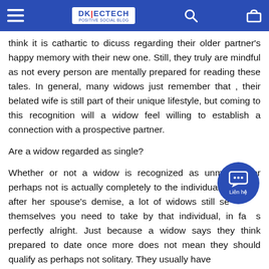DK ECTECH — POSITIVE SOCIAL BLOG
think it is cathartic to dicuss regarding their older partner's happy memory with their new one. Still, they truly are mindful as not every person are mentally prepared for reading these tales. In general, many widows just remember that , their belated wife is still part of their unique lifestyle, but coming to this recognition will a widow feel willing to establish a connection with a prospective partner.
Are a widow regarded as single?
Whether or not a widow is recognized as unmarried or perhaps not is actually completely to the individual. after her spouse's demise, a lot of widows still see themselves you need to take by that individual, in fact this perfectly alright. Just because a widow says they think prepared to date once more does not mean they should qualify as perhaps not solitary. They usually have